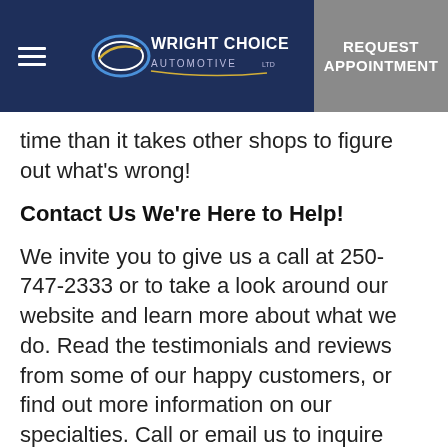[Figure (logo): Wright Choice Automotive logo with navigation header bar including hamburger menu and REQUEST APPOINTMENT button]
time than it takes other shops to figure out what's wrong!
Contact Us We're Here to Help!
We invite you to give us a call at 250-747-2333 or to take a look around our website and learn more about what we do. Read the testimonials and reviews from some of our happy customers, or find out more information on our specialties. Call or email us to inquire about how we can help with your specific automobile